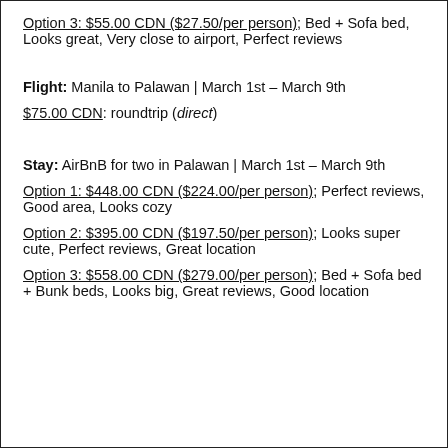Option 3: $55.00 CDN ($27.50/per person); Bed + Sofa bed, Looks great, Very close to airport, Perfect reviews
Flight: Manila to Palawan | March 1st – March 9th
$75.00 CDN: roundtrip (direct)
Stay: AirBnB for two in Palawan | March 1st – March 9th
Option 1: $448.00 CDN ($224.00/per person); Perfect reviews, Good area, Looks cozy
Option 2: $395.00 CDN ($197.50/per person); Looks super cute, Perfect reviews, Great location
Option 3: $558.00 CDN ($279.00/per person); Bed + Sofa bed + Bunk beds, Looks big, Great reviews, Good location